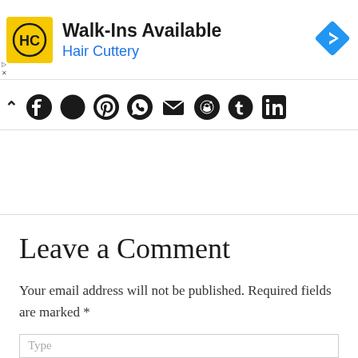[Figure (other): Hair Cuttery advertisement banner with yellow logo showing HC initials, text 'Walk-Ins Available' and 'Hair Cuttery' in blue, and a blue navigation arrow icon on the right]
[Figure (other): Social sharing bar with chevron/collapse icon and social media icons: Facebook, Twitter, Pinterest, WhatsApp, Email, Reddit, Tumblr, LinkedIn]
Leave a Comment
Your email address will not be published. Required fields are marked *